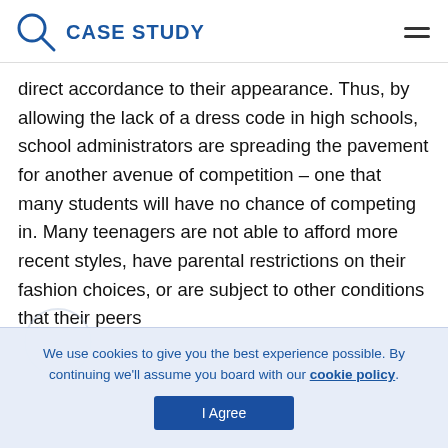CASE STUDY
direct accordance to their appearance. Thus, by allowing the lack of a dress code in high schools, school administrators are spreading the pavement for another avenue of competition – one that many students will have no chance of competing in. Many teenagers are not able to afford more recent styles, have parental restrictions on their fashion choices, or are subject to other conditions that their peers
We use cookies to give you the best experience possible. By continuing we'll assume you board with our cookie policy.
I Agree